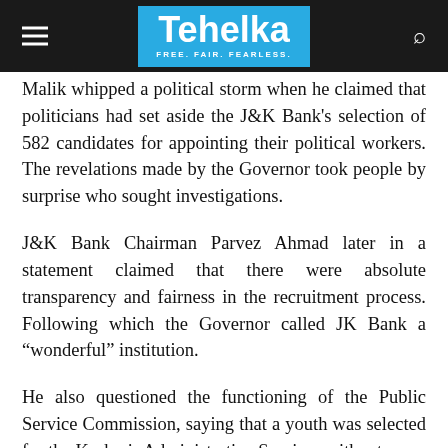Tehelka — FREE. FAIR. FEARLESS.
Malik whipped a political storm when he claimed that politicians had set aside the J&K Bank's selection of 582 candidates for appointing their political workers. The revelations made by the Governor took people by surprise who sought investigations.
J&K Bank Chairman Parvez Ahmad later in a statement claimed that there were absolute transparency and fairness in the recruitment process. Following which the Governor called JK Bank a “wonderful” institution.
He also questioned the functioning of the Public Service Commission, saying that a youth was selected for the Kashmir Administrative Services without